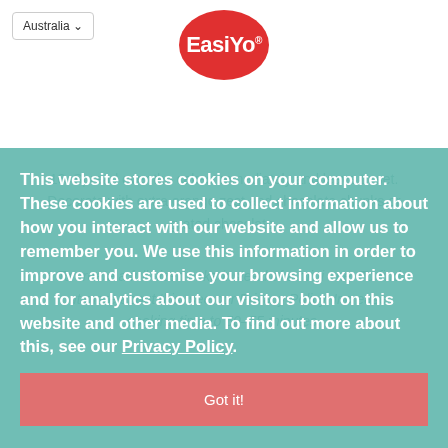Australia
[Figure (logo): EasiYo logo — red oval with white bold text 'EasiYo']
≡ MENU   Cart (0)
10. Spread over the cakes immediately and leave to set. Decorate with extra orange zest and chocolate chunks or grated chocolate.
* To create a full sized cake instead of a mini one. To find out more about this, see our Privacy Policy. Increase cooking time to 50–55 minutes.
This website stores cookies on your computer. These cookies are used to collect information about how you interact with our website and allow us to remember you. We use this information in order to improve and customise your browsing experience and for analytics about our visitors both on this website and other media. To find out more about this, see our Privacy Policy.
Got it!